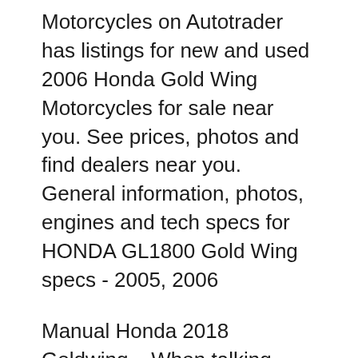Motorcycles on Autotrader has listings for new and used 2006 Honda Gold Wing Motorcycles for sale near you. See prices, photos and find dealers near you. General information, photos, engines and tech specs for HONDA GL1800 Gold Wing specs - 2005, 2006
Manual Honda 2018 Goldwing – When talking about owner's manual, it appears to be most people is not going to think about it as valuable. You may also have the same judgment about the book. Nevertheless, you will generally have it, including when you get new … General information, photos, engines and tech specs for HONDA GL1800 Gold Wing specs - 2005, 2006
09/06/2015 · 2006 Honda Goldwing GL1800 Trike